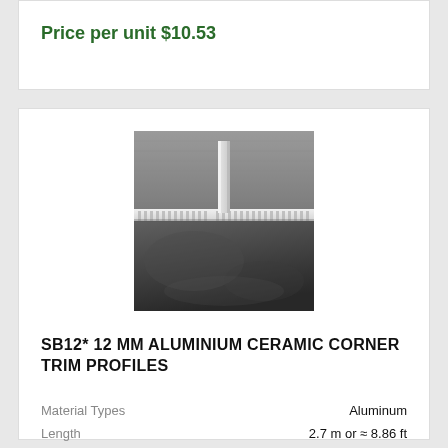Price per unit $10.53
[Figure (photo): Close-up photograph of a silver/white aluminium L-shaped ceramic corner trim profile installed on a dark grey tiled surface, showing the ribbed/serrated base flange and vertical lip of the profile.]
SB12* 12 MM ALUMINIUM CERAMIC CORNER TRIM PROFILES
| Attribute | Value |
| --- | --- |
| Material Types | Aluminum |
| Length | 2.7 m or ≈ 8.86 ft |